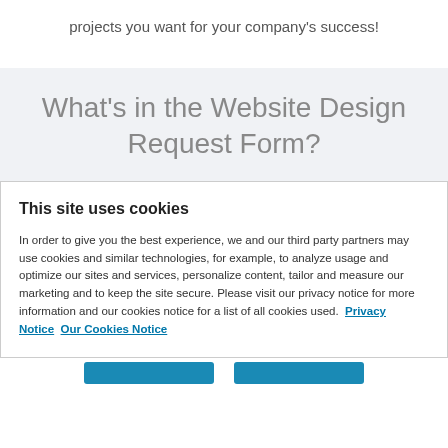projects you want for your company's success!
What's in the Website Design Request Form?
This site uses cookies
In order to give you the best experience, we and our third party partners may use cookies and similar technologies, for example, to analyze usage and optimize our sites and services, personalize content, tailor and measure our marketing and to keep the site secure. Please visit our privacy notice for more information and our cookies notice for a list of all cookies used.  Privacy Notice  Our Cookies Notice